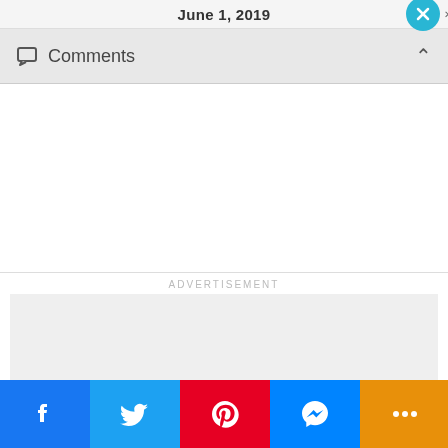June 1, 2019
Comments
ADVERTISEMENT
[Figure (other): Advertisement placeholder box (gray background)]
Facebook share | Twitter share | Pinterest share | Messenger share | More | NEXT ARTICLE